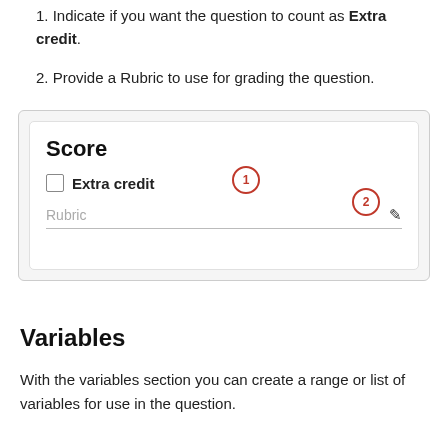1. Indicate if you want the question to count as Extra credit.
2. Provide a Rubric to use for grading the question.
[Figure (screenshot): A Score panel UI with an Extra credit checkbox (callout 1) and a Rubric field with a pencil edit icon (callout 2).]
Variables
With the variables section you can create a range or list of variables for use in the question.